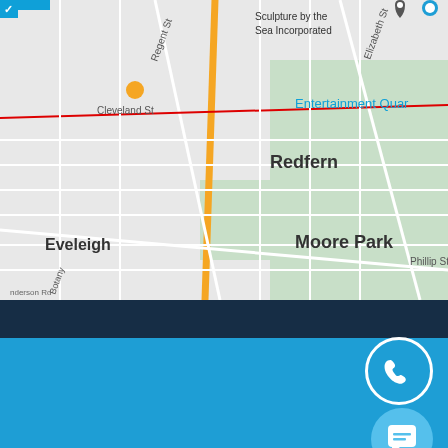[Figure (map): Google Maps screenshot showing Redfern, Eveleigh, Moore Park, and Entertainment Quarter area in Sydney, Australia. Streets visible include Regent St, Elizabeth St, Phillip St, Cleveland St, Botany Rd. Landmarks include Sculpture by the Sea Incorporated.]
[Figure (infographic): Social media icons row: Facebook, Twitter, LinkedIn, Instagram. Blue background section with phone callback button (circle with phone icon) and chat button (circle with speech bubble icon) on right side.]